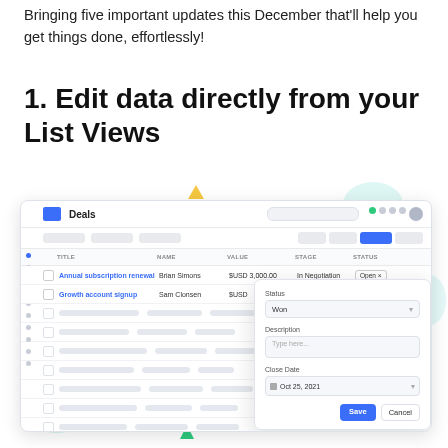Bringing five important updates this December that'll help you get things done, effortlessly!
1. Edit data directly from your List Views
[Figure (screenshot): Screenshot of a CRM Deals list view with an inline edit dropdown panel showing Status (Won), Description (Type here...), Close Date (Oct 25, 2021), and Save/Cancel buttons.]